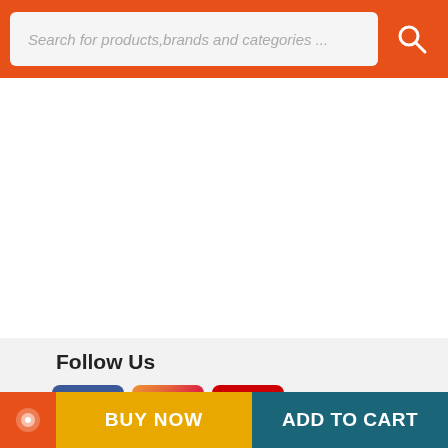Search for products,brands and categories ...
Follow Us
[Figure (other): Social media icons: Facebook (blue), Instagram (gradient), YouTube (red)]
Contact Us : 01 4155100
Download our App
[Figure (other): GET IT ON Google Play badge]
© 2021 kabmart.com. All rights reserved.
BUY NOW
ADD TO CART